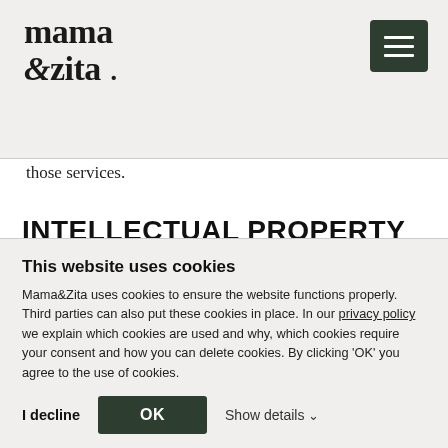mama & zita .
those services.
INTELLECTUAL PROPERTY RIGHTS
We are the owner or licensee of all intellectual property rights in our site, and of all information, images and other content published on it ("Materials"). Those Materials are protected by
This website uses cookies
Mama&Zita uses cookies to ensure the website functions properly. Third parties can also put these cookies in place. In our privacy policy we explain which cookies are used and why, which cookies require your consent and how you can delete cookies. By clicking 'OK' you agree to the use of cookies.
I decline  OK  Show details